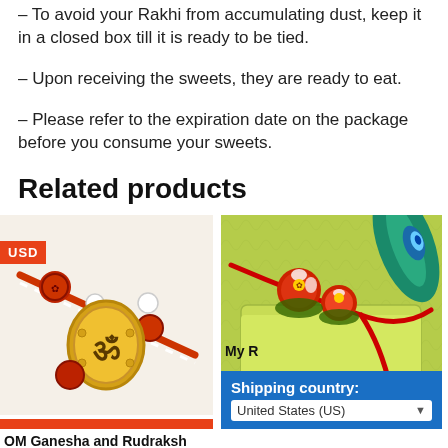– To avoid your Rakhi from accumulating dust, keep it in a closed box till it is ready to be tied.
– Upon receiving the sweets, they are ready to eat.
– Please refer to the expiration date on the package before you consume your sweets.
Related products
[Figure (photo): Close-up photo of an OM Ganesha and Rudraksh Rakhi bracelet with gold and red beads on white background]
[Figure (photo): Photo of a red string Rakhi bracelet with small red decorative sweets on green fabric background, with a shipping country overlay showing United States (US)]
OM Ganesha and Rudraksh
My R
Shipping country: United States (US)